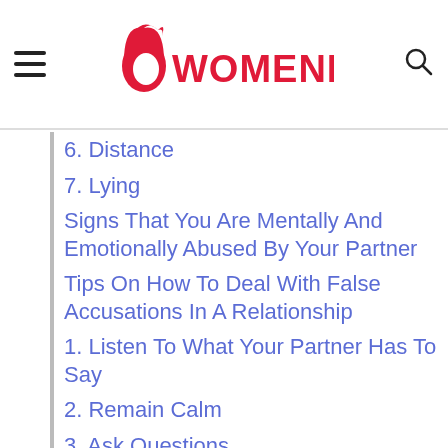[Figure (logo): Womenio website logo with red stylized woman face icon and red text reading WOMENIO, with hamburger menu icon on left and search icon on right]
6. Distance
7. Lying
Signs That You Are Mentally And Emotionally Abused By Your Partner
Tips On How To Deal With False Accusations In A Relationship
1. Listen To What Your Partner Has To Say
2. Remain Calm
3. Ask Questions
4. Remain Adamant About Your Innocence
5. Try To Find Common Ground
6. Don't Postpone Resolving The